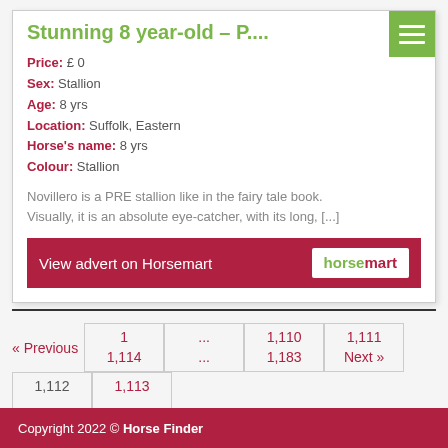Stunning 8 year-old – P....
Price: £0
Sex: Stallion
Age: 8 yrs
Location: Suffolk, Eastern
Horse's name: 8 yrs
Colour: Stallion
Novillero is a PRE stallion like in the fairy tale book. Visually, it is an absolute eye-catcher, with its long, [...]
View advert on Horsemart
« Previous  1  ...  1,110  1,111  1,112  1,113  1,114  ...  1,183  Next »
Copyright 2022 © Horse Finder